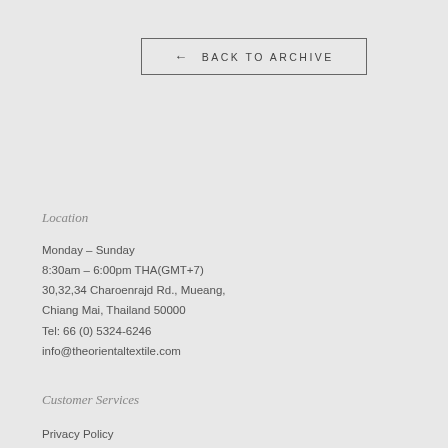← BACK TO ARCHIVE
Location
Monday – Sunday
8:30am – 6:00pm THA(GMT+7)
30,32,34 Charoenrajd Rd., Mueang,
Chiang Mai, Thailand 50000
Tel: 66 (0) 5324-6246
info@theorientaltextile.com
Customer Services
Privacy Policy